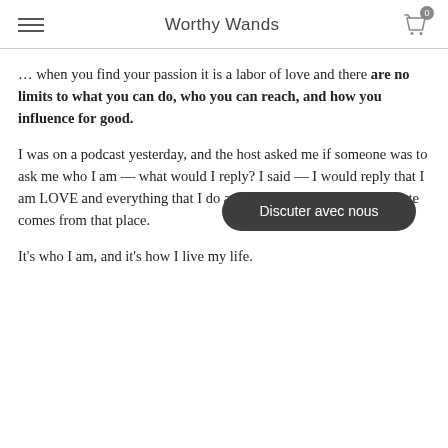Worthy Wands
… when you find your passion it is a labor of love and there are no limits to what you can do, who you can reach, and how you influence for good.
I was on a podcast yesterday, and the host asked me if someone was to ask me who I am — what would I reply? I said — I would reply that I am LOVE and everything that I do and how I serve and what I create comes from that place.
It's who I am, and it's how I live my life.